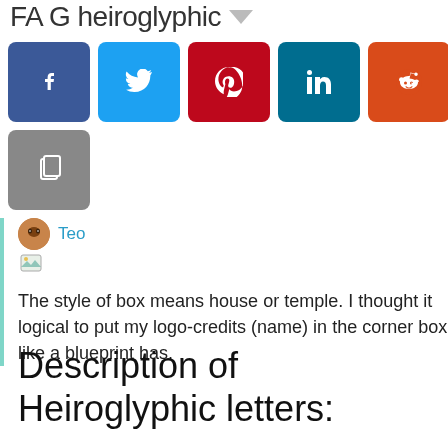FA G heiroglyphic
[Figure (screenshot): Social media share buttons: Facebook (blue), Twitter (light blue), Pinterest (red), LinkedIn (teal), Reddit (orange-red), and a copy/clipboard button (grey)]
Teo
The style of box means house or temple. I thought it logical to put my logo-credits (name) in the corner box like a blueprint has.
Description of Heiroglyphic letters: